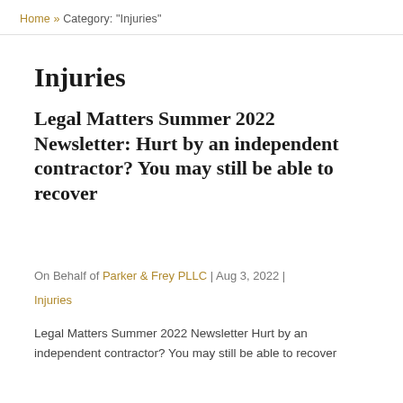Home » Category: "Injuries"
Injuries
Legal Matters Summer 2022 Newsletter: Hurt by an independent contractor? You may still be able to recover
On Behalf of Parker & Frey PLLC | Aug 3, 2022 | Injuries
Legal Matters Summer 2022 Newsletter Hurt by an independent contractor? You may still be able to recover